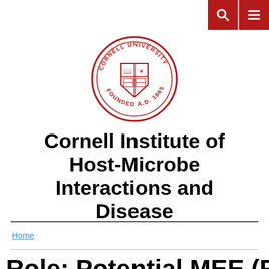Search and Menu buttons
[Figure (logo): Cornell University seal/logo in red — circular seal with shield, text CORNELL UNIVERSITY FOUNDED A.D. 1865]
Cornell Institute of Host-Microbe Interactions and Disease
Home
Role: Potential MEE (REI)